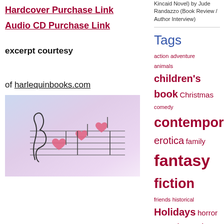Hardcover Purchase Link
Audio CD Purchase Link
excerpt courtesy
of harlequinbooks.com
[Figure (photo): Sheet music with pink heart-shaped musical notes on a music staff, soft blurred pastel background.]
Kincaid Novel) by Jude Randazzo (Book Review / Author Interview)
Tags
action adventure animals children's book Christmas comedy contemporary erotica family fantasy fiction friends historical Holidays horror humor interview LGBT LGBTQIA love magic military mystery ménage novella